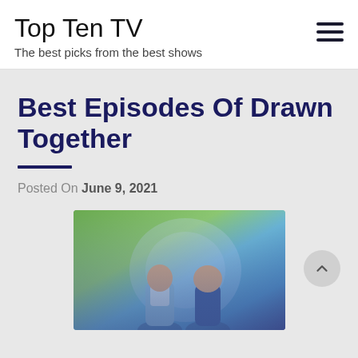Top Ten TV
The best picks from the best shows
Best Episodes Of Drawn Together
Posted On June 9, 2021
[Figure (photo): Amazon Original Movie promotional image showing two young actors (Kathryn Newton and Kyle Allen) facing each other with a colorful outdoor background.]